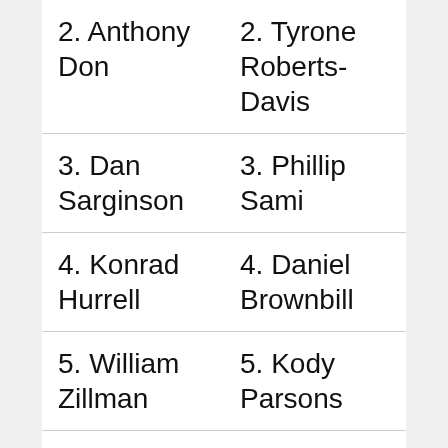| 2. Anthony Don | 2. Tyrone Roberts-Davis |
| 3. Dan Sarginson | 3. Phillip Sami |
| 4. Konrad Hurrell | 4. Daniel Brownbill |
| 5. William Zillman | 5. Kody Parsons |
| 6. Kane Elgey | 6. Ethan Roberts © |